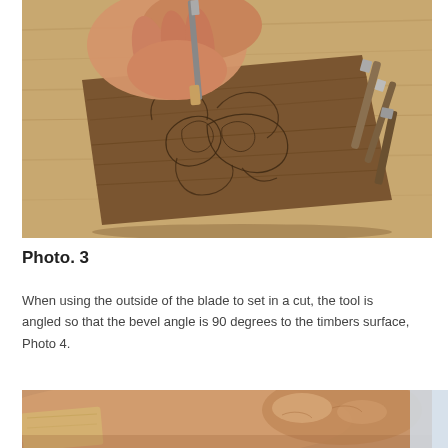[Figure (photo): Hands using a carving tool to set cuts into a wooden board with decorative scrollwork design drawn on it. Several chisels and carving tools visible in background on a wooden workbench.]
Photo. 3
When using the outside of the blade to set in a cut, the tool is angled so that the bevel angle is 90 degrees to the timbers surface, Photo 4.
[Figure (photo): Close-up of a person's hand holding a carving chisel against a piece of wood, demonstrating blade angle technique.]